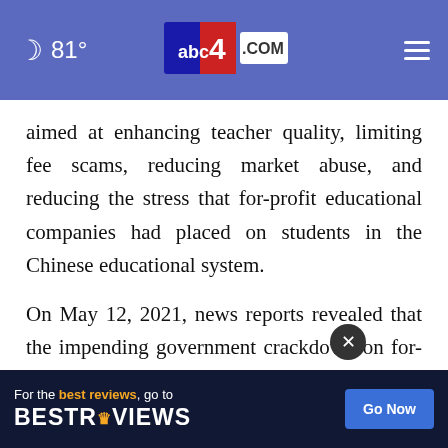81° abc4.com
aimed at enhancing teacher quality, limiting fee scams, reducing market abuse, and reducing the stress that for-profit educational companies had placed on students in the Chinese educational system.
On May 12, 2021, news reports revealed that the impending government crackdown on for-profit educational companies in China would be much more drastic and far reaching than previously publi... pated
[Figure (screenshot): Advertisement banner: 'For the best reviews, go to BESTREVIEWS — Go Now button']